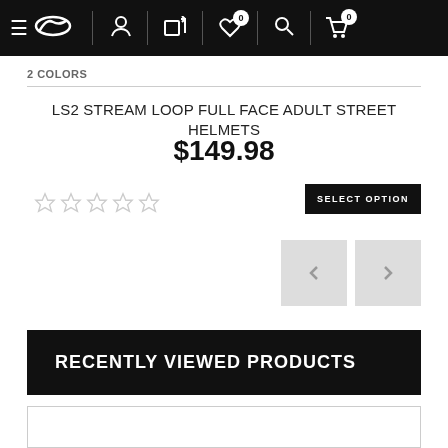Navigation bar with hamburger menu, logo (OM), user icon, compare icon, wishlist (0), search, cart (0)
2 COLORS
LS2 STREAM LOOP FULL FACE ADULT STREET HELMETS
$149.98
[Figure (other): Five empty/unfilled star rating icons]
SELECT OPTION
[Figure (other): Previous and next navigation arrow buttons (gray squares with < and > arrows)]
RECENTLY VIEWED PRODUCTS
[Figure (other): Bottom partial card/panel outline]